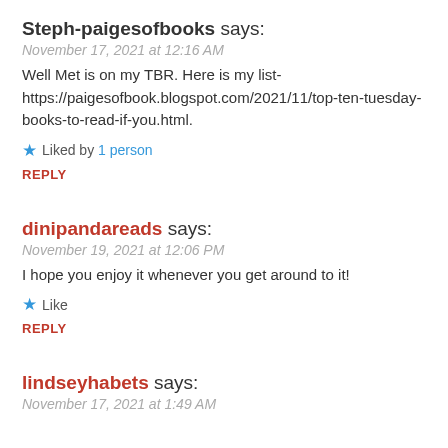Steph-paigesofbooks says:
November 17, 2021 at 12:16 AM
Well Met is on my TBR. Here is my list- https://paigesofbook.blogspot.com/2021/11/top-ten-tuesday-books-to-read-if-you.html.
★ Liked by 1 person
REPLY
dinipandareads says:
November 19, 2021 at 12:06 PM
I hope you enjoy it whenever you get around to it!
★ Like
REPLY
lindseyhabets says:
November 17, 2021 at 1:49 AM